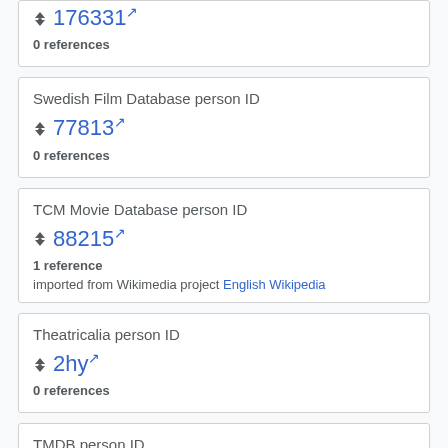176331 [external link]
0 references
Swedish Film Database person ID
77813 [external link]
0 references
TCM Movie Database person ID
88215 [external link]
1 reference
imported from Wikimedia project English Wikipedia
Theatricalia person ID
2hy [external link]
0 references
TMDB person ID